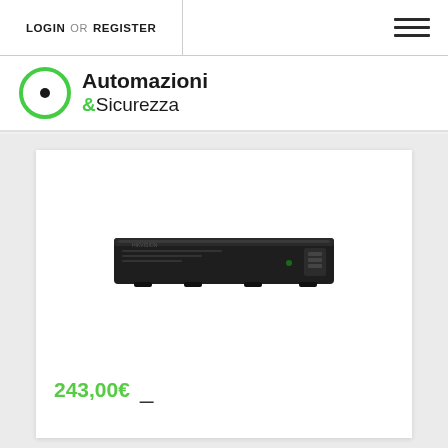LOGIN OR REGISTER
[Figure (logo): Automazioni &Sicurezza logo with green circle icon]
[Figure (photo): Black DVR/NVR security recorder device, flat rectangular hardware unit]
243,00€  _